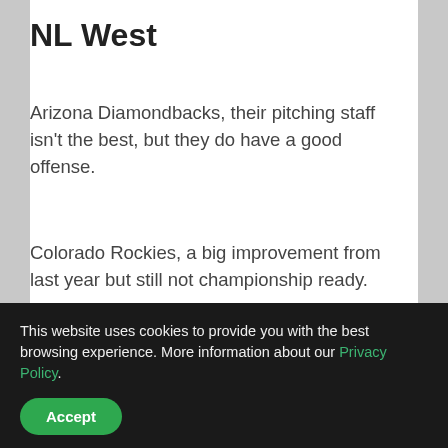NL West
Arizona Diamondbacks, their pitching staff isn't the best, but they do have a good offense.
Colorado Rockies, a big improvement from last year but still not championship ready.
Los Angeles Dodgers, this team just surpassed the NY Yankees on spending, ohh boy, thats one way to win a World Series.
San Diego Padres, San Diego had a team?
This website uses cookies to provide you with the best browsing experience. More information about our Privacy Policy.